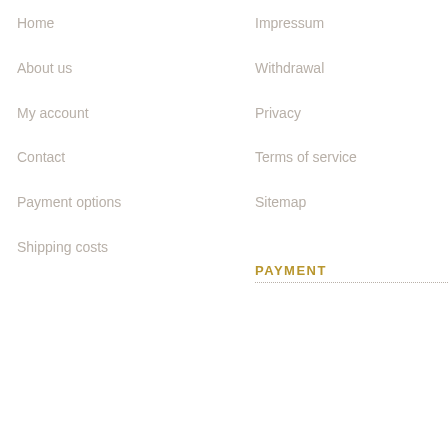Home
About us
My account
Contact
Payment options
Shipping costs
Impressum
Withdrawal
Privacy
Terms of service
Sitemap
PAYMENT